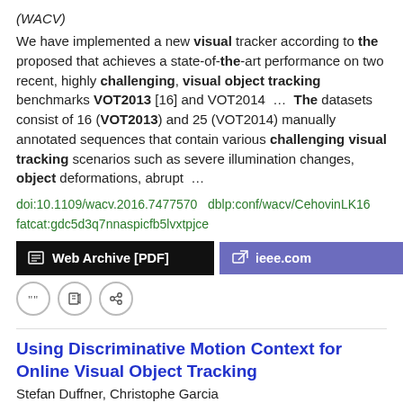(WACV)
We have implemented a new visual tracker according to the proposed that achieves a state-of-the-art performance on two recent, highly challenging, visual object tracking benchmarks VOT2013 [16] and VOT2014 … The datasets consist of 16 (VOT2013) and 25 (VOT2014) manually annotated sequences that contain various challenging visual tracking scenarios such as severe illumination changes, object deformations, abrupt …
doi:10.1109/wacv.2016.7477570  dblp:conf/wacv/CehovinLK16
fatcat:gdc5d3q7nnaspicfb5lvxtpjce
[Figure (other): Web Archive [PDF] and ieee.com buttons, plus icon buttons for cite, edit, link]
Using Discriminative Motion Context for Online Visual Object Tracking
Stefan Duffner, Christophe Garcia
2016 IEEE transactions on circuits and systems for video technology (Print)
Moreover, we present quantitative and qualitative results on four